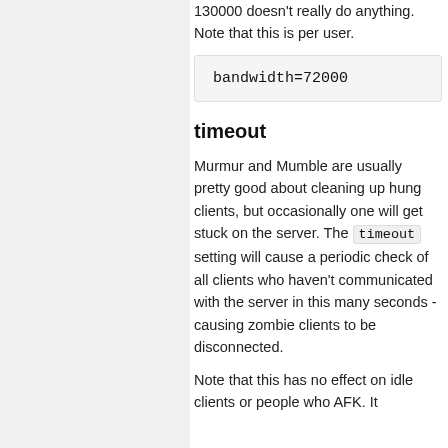130000 doesn't really do anything. Note that this is per user.
bandwidth=72000
timeout
Murmur and Mumble are usually pretty good about cleaning up hung clients, but occasionally one will get stuck on the server. The timeout setting will cause a periodic check of all clients who haven't communicated with the server in this many seconds - causing zombie clients to be disconnected.
Note that this has no effect on idle clients or people who AFK. It